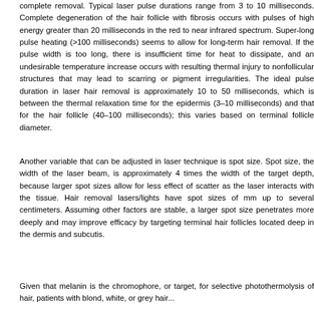complete removal. Typical laser pulse durations range from 3 to 10 milliseconds. Complete degeneration of the hair follicle with fibrosis occurs with pulses of high energy greater than 20 milliseconds in the red to near infrared spectrum. Super-long pulse heating (>100 milliseconds) seems to allow for long-term hair removal. If the pulse width is too long, there is insufficient time for heat to dissipate, and an undesirable temperature increase occurs with resulting thermal injury to nonfollicular structures that may lead to scarring or pigment irregularities. The ideal pulse duration in laser hair removal is approximately 10 to 50 milliseconds, which is between the thermal relaxation time for the epidermis (3–10 milliseconds) and that for the hair follicle (40–100 milliseconds); this varies based on terminal follicle diameter.
Another variable that can be adjusted in laser technique is spot size. Spot size, the width of the laser beam, is approximately 4 times the width of the target depth, because larger spot sizes allow for less effect of scatter as the laser interacts with the tissue. Hair removal lasers/lights have spot sizes of mm up to several centimeters. Assuming other factors are stable, a larger spot size penetrates more deeply and may improve efficacy by targeting terminal hair follicles located deep in the dermis and subcutis.
Given that melanin is the chromophore, or target, for selective photothermolysis of hair, patients with blond, white, or grey hair...